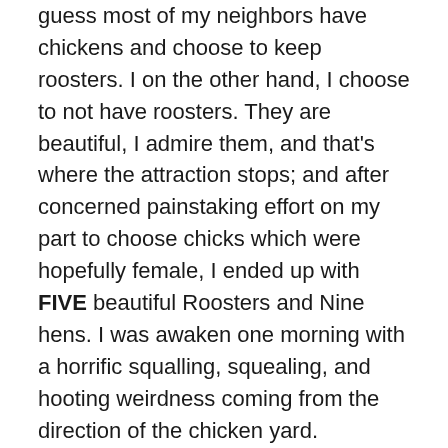guess most of my neighbors have chickens and choose to keep roosters. I on the other hand, I choose to not have roosters. They are beautiful, I admire them, and that's where the attraction stops; and after concerned painstaking effort on my part to choose chicks which were hopefully female, I ended up with FIVE beautiful Roosters and Nine hens. I was awaken one morning with a horrific squalling, squealing, and hooting weirdness coming from the direction of the chicken yard. Stumbling to the door I peered outside in that general area and proudly attempting to crow was one of the new pullets. You could hear him trying to form a crow but the noise was a pitiful example of crowing. Continue this progressive morning scenario for two weeks: The family who lives the next road over must have several roosters, and I watch the little gray one I have listen closely as they one after the other, crow with a vengeance. Then he begins to attempt a mimic of their